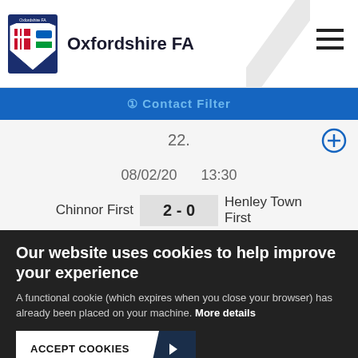Oxfordshire FA
22.
08/02/20   13:30
| Home | Score | Away |
| --- | --- | --- |
| Chinnor First | 2 - 0 | Henley Town First |
Our website uses cookies to help improve your experience
A functional cookie (which expires when you close your browser) has already been placed on your machine. More details
ACCEPT COOKIES